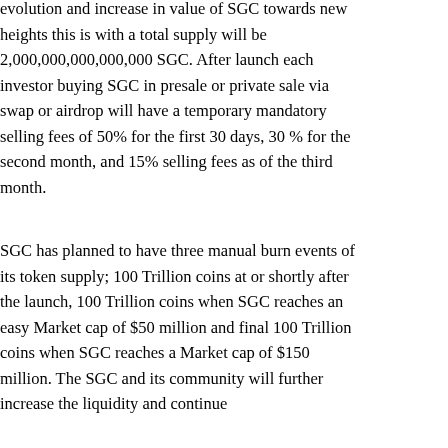evolution and increase in value of SGC towards new heights this is with a total supply will be 2,000,000,000,000,000 SGC. After launch each investor buying SGC in presale or private sale via swap or airdrop will have a temporary mandatory selling fees of 50% for the first 30 days, 30 % for the second month, and 15% selling fees as of the third month.
SGC has planned to have three manual burn events of its token supply; 100 Trillion coins at or shortly after the launch, 100 Trillion coins when SGC reaches an easy Market cap of $50 million and final 100 Trillion coins when SGC reaches a Market cap of $150 million. The SGC and its community will further increase the liquidity and continue